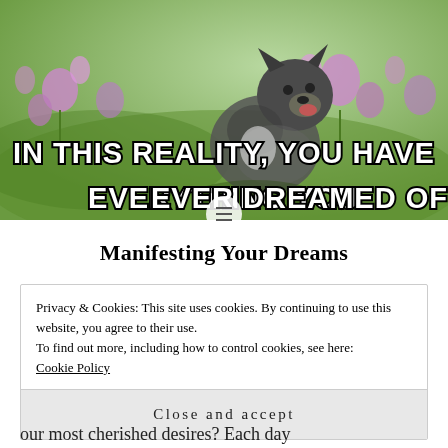[Figure (photo): A small puppy/wolf cub sitting in a field of green grass and purple wildflowers, looking upward with mouth open, photographed from the side.]
Manifesting Your Dreams
Privacy & Cookies: This site uses cookies. By continuing to use this website, you agree to their use.
To find out more, including how to control cookies, see here: Cookie Policy
Close and accept
our most cherished desires? Each day